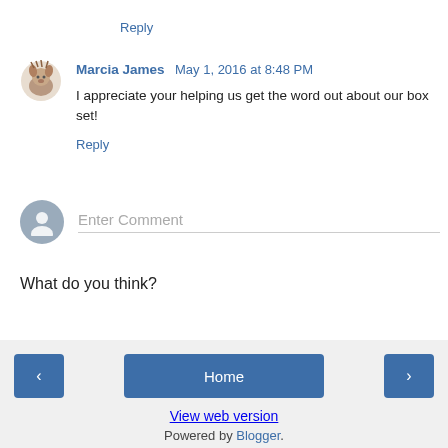Reply
Marcia James  May 1, 2016 at 8:48 PM
I appreciate your helping us get the word out about our box set!
Reply
Enter Comment
What do you think?
‹
Home
›
View web version
Powered by Blogger.